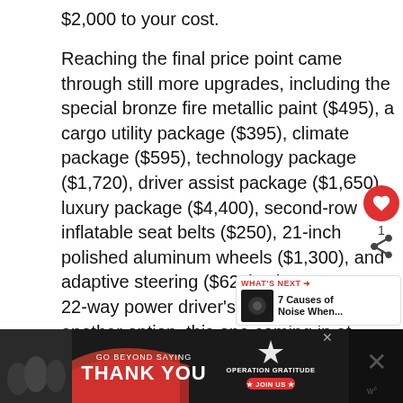$2,000 to your cost.
Reaching the final price point came through still more upgrades, including the special bronze fire metallic paint ($495), a cargo utility package ($395), climate package ($595), technology package ($1,720), driver assist package ($1,650), luxury package ($4,400), second-row inflatable seat belts ($250), 21-inch polished aluminum wheels ($1,300), and adaptive steering ($625). The 22-way power driver’s seat was yet another option, this one coming in at $1,500. Lincoln added nearly $15,000 in options to a